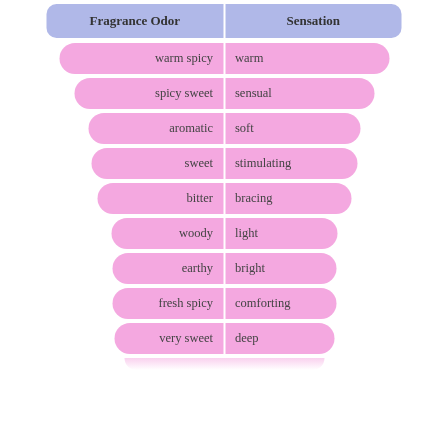| Fragrance Odor | Sensation |
| --- | --- |
| warm spicy | warm |
| spicy sweet | sensual |
| aromatic | soft |
| sweet | stimulating |
| bitter | bracing |
| woody | light |
| earthy | bright |
| fresh spicy | comforting |
| very sweet | deep |